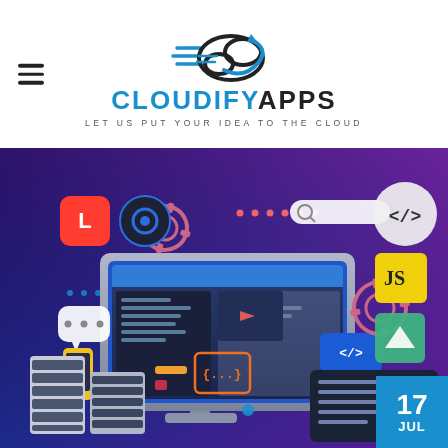[Figure (logo): CloudifyApps logo with cloud and speed lines icon, text CLOUDIFYAPPS and tagline LET US PUT YOUR IDEA TO THE CLOUD]
[Figure (illustration): Web development themed illustration showing a desktop computer monitor with code editor, surrounded by tech icons including Laravel, Nova, JavaScript, Vue.js, Node.js, server racks, gears, chat bubble, mobile phone, code tags, and decorative elements on a dark blue/purple gradient background. Date badge showing 17 JUL in bottom right.]